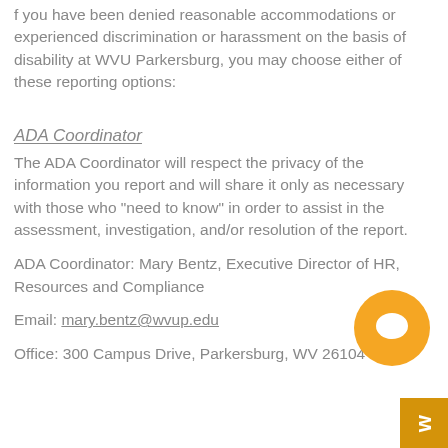f you have been denied reasonable accommodations or experienced discrimination or harassment on the basis of disability at WVU Parkersburg, you may choose either of these reporting options:
ADA Coordinator
The ADA Coordinator will respect the privacy of the information you report and will share it only as necessary with those who "need to know" in order to assist in the assessment, investigation, and/or resolution of the report.
ADA Coordinator: Mary Bentz, Executive Director of HR, Resources and Compliance
Email: mary.bentz@wvup.edu
Office: 300 Campus Drive, Parkersburg, WV 26104